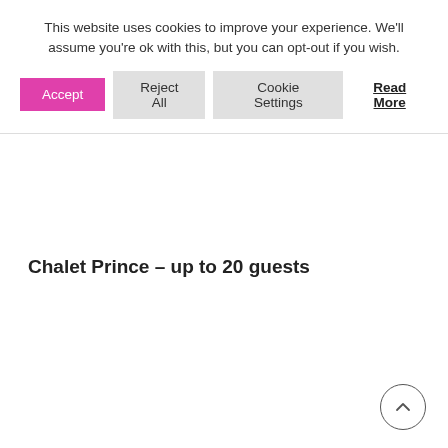This website uses cookies to improve your experience. We'll assume you're ok with this, but you can opt-out if you wish.
Accept | Reject All | Cookie Settings | Read More
Chalet Prince – up to 20 guests